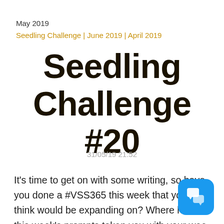May 2019
Seedling Challenge | June 2019 | April 2019
Seedling Challenge #20
31/05/19 21:52
It's time to get on with some writing, so have you done a #VSS365 this week that you think would be expanding on? Where have this week's prompts taken you with your wee Tweets? Choose on and go for it!